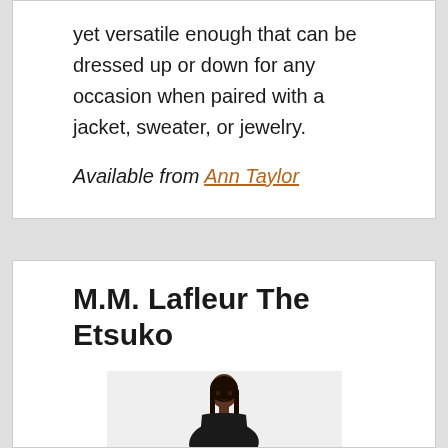yet versatile enough that can be dressed up or down for any occasion when paired with a jacket, sweater, or jewelry.
Available from Ann Taylor
M.M. Lafleur The Etsuko
[Figure (photo): A woman wearing a black fitted dress with three-quarter sleeves and a thin belt, posed against a light background.]